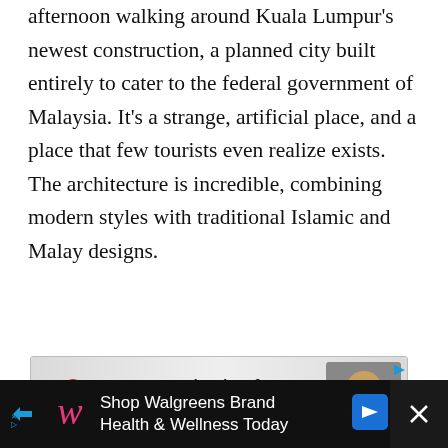afternoon walking around Kuala Lumpur's newest construction, a planned city built entirely to cater to the federal government of Malaysia. It's a strange, artificial place, and a place that few tourists even realize exists. The architecture is incredible, combining modern styles with traditional Islamic and Malay designs.
[Figure (screenshot): Advertisement banner: 'Invest in the future of kids like Nova.' with red seated figure logo and photo of a child.]
[Figure (photo): Photo of an Islamic mosque with a golden dome and minarets against a blue sky with clouds. UI overlay shows heart and share buttons, and a 'What's Next' panel showing 'The Ultimate Guide to...']
[Figure (screenshot): Bottom advertisement for Walgreens Brand Health & Wellness Today with Walgreens logo and blue navigation icon.]